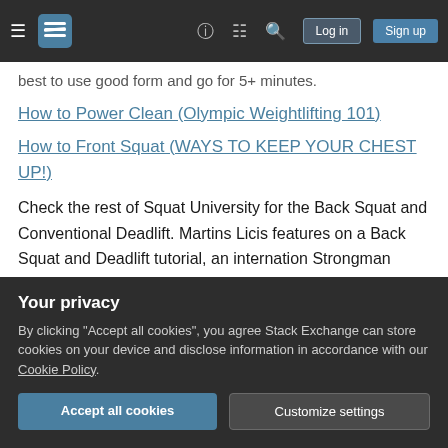Stack Exchange navigation bar with hamburger menu, logo, help, chat, search icons, Log in and Sign up buttons
best to use good form and go for 5+ minutes.
How to Power Clean (Olympic Weightlifting 101)
How to Front Squat (WAYS TO KEEP YOUR CHEST UP!)
Check the rest of Squat University for the Back Squat and Conventional Deadlift. Martins Licis features on a Back Squat and Deadlift tutorial, an internation Strongman Competition winner.
Once you have 25 lbs on the bar on these
Your privacy
By clicking "Accept all cookies", you agree Stack Exchange can store cookies on your device and disclose information in accordance with our Cookie Policy.
Accept all cookies
Customize settings
movement is up on that given day. So if you back squat, the best strategy should ensure if